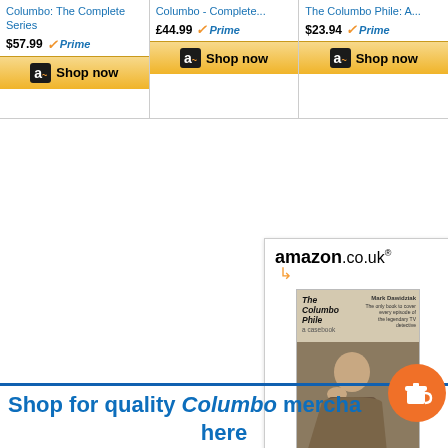[Figure (screenshot): Three Amazon product cards showing Columbo DVD sets and books with prices and Shop now buttons. Card 1: Columbo: The Complete Series $57.99 Prime. Card 2: Columbo - Complete... £44.99 Prime. Card 3: The Columbo Phile: A... $23.94 Prime.]
[Figure (screenshot): Amazon.co.uk product card for The Columbo Phile book showing the amazon.co.uk logo, book cover image with a person resting their head on their hand, title 'The Columbo Phile: A...', price £22.86 Prime, and a Shop now button.]
Shop for quality Columbo mercha here